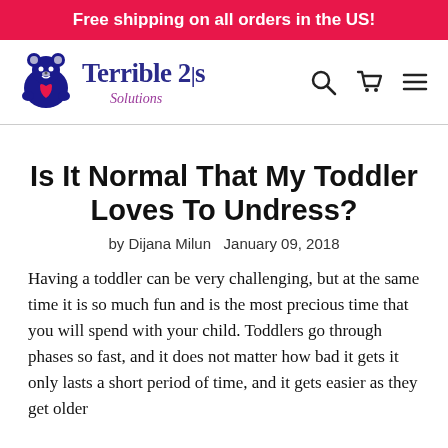Free shipping on all orders in the US!
[Figure (logo): Terrible 2's Solutions logo with a teddy bear holding a heart]
Is It Normal That My Toddler Loves To Undress?
by Dijana Milun   January 09, 2018
Having a toddler can be very challenging, but at the same time it is so much fun and is the most precious time that you will spend with your child. Toddlers go through phases so fast, and it does not matter how bad it gets it only lasts a short period of time, and it gets easier as they get older